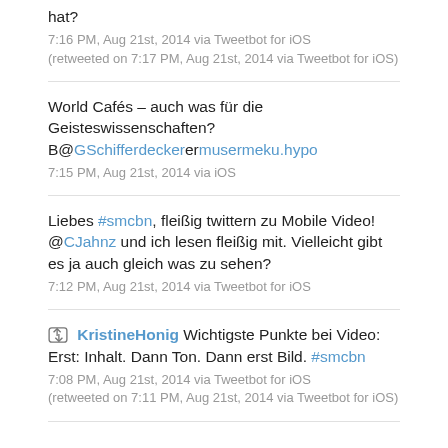hat?
7:16 PM, Aug 21st, 2014 via Tweetbot for iOS (retweeted on 7:17 PM, Aug 21st, 2014 via Tweetbot for iOS)
World Cafés – auch was für die Geisteswissenschaften? B@GSchifferdeckermusermeku.hypo
7:15 PM, Aug 21st, 2014 via iOS
Liebes #smcbn, fleißig twittern zu Mobile Video! @CJahnz und ich lesen fleißig mit. Vielleicht gibt es ja auch gleich was zu sehen?
7:12 PM, Aug 21st, 2014 via Tweetbot for iOS
KristineHonig Wichtigste Punkte bei Video: Erst: Inhalt. Dann Ton. Dann erst Bild. #smcbn
7:08 PM, Aug 21st, 2014 via Tweetbot for iOS (retweeted on 7:11 PM, Aug 21st, 2014 via Tweetbot for iOS)